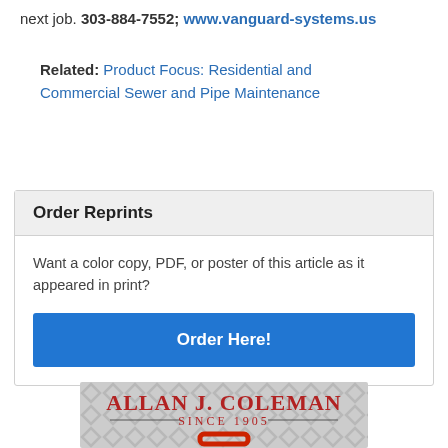next job. 303-884-7552; www.vanguard-systems.us
Related: Product Focus: Residential and Commercial Sewer and Pipe Maintenance
Order Reprints
Want a color copy, PDF, or poster of this article as it appeared in print?
Order Here!
[Figure (illustration): Allan J. Coleman Since 1905 advertisement with diamond-plate metal background and partial view of red equipment]